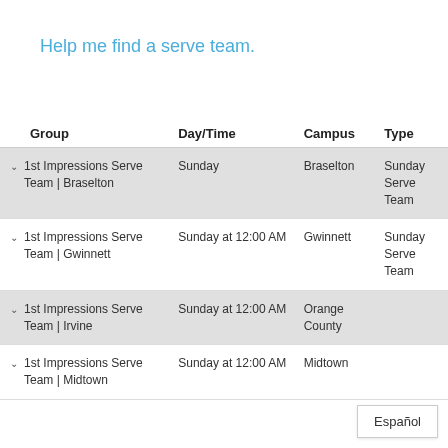Help me find a serve team.
| Group | Day/Time | Campus | Type |
| --- | --- | --- | --- |
| 1st Impressions Serve Team | Braselton | Sunday | Braselton | Sunday Serve Team |
| 1st Impressions Serve Team | Gwinnett | Sunday at 12:00 AM | Gwinnett | Sunday Serve Team |
| 1st Impressions Serve Team | Irvine | Sunday at 12:00 AM | Orange County |  |
| 1st Impressions Serve Team | Midtown | Sunday at 12:00 AM | Midtown |  |
Español